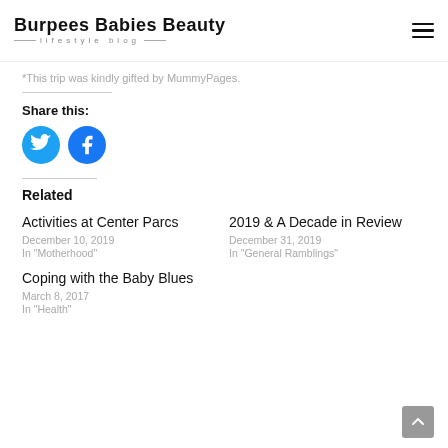Burpees Babies Beauty — lifestyle blog
*This trip was kindly gifted by MummyPages.
Share this:
[Figure (illustration): Twitter and Facebook circular social share buttons]
Related
Activities at Center Parcs
December 10, 2019
In "Motherhood"
2019 & A Decade in Review
December 31, 2019
In "General Ramblings"
Coping with the Baby Blues
March 8, 2017
In "Health"